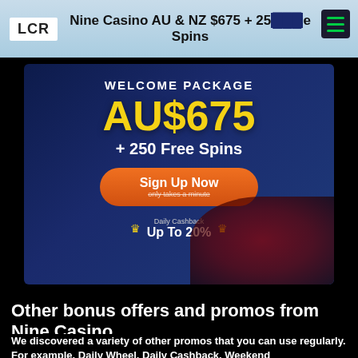Nine Casino AU & NZ $675 + 250 Free Spins
[Figure (illustration): Casino welcome package promotional banner showing AU$675 + 250 Free Spins with a Sign Up Now button and Daily Cashback Up To 20% offer, featuring roulette wheel imagery and a panda mascot on a dark blue background.]
Other bonus offers and promos from Nine Casino
We discovered a variety of other promos that you can use regularly. For example, Daily Wheel, Daily Cashback, Weekend